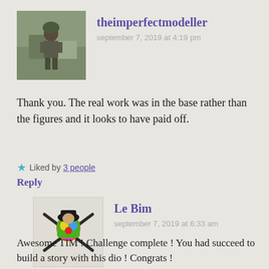[Figure (photo): Avatar of theimperfectmodeller showing a military figure/soldier outdoors]
theimperfectmodeller
september 7, 2019 at 4:19 pm
Thank you. The real work was in the base rather than the figures and it looks to have paid off.
Liked by 3 people
Reply
[Figure (illustration): Avatar of Le Bim showing a colorful figure with crossed swords/rifles]
Le Bim
september 7, 2019 at 6:33 am
Awesome TIM ! Challenge complete ! You had succeed to build a story with this dio ! Congrats !